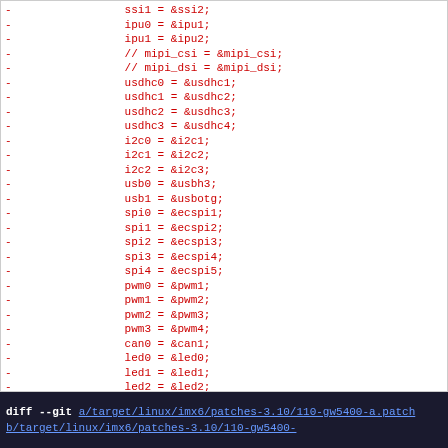code diff listing: ssi1 = &ssi2; ipu0 = &ipu1; ipu1 = &ipu2; // mipi_csi = &mipi_csi; // mipi_dsi = &mipi_dsi; usdhc0 = &usdhc1; usdhc1 = &usdhc2; usdhc2 = &usdhc3; usdhc3 = &usdhc4; i2c0 = &i2c1; i2c1 = &i2c2; i2c2 = &i2c3; usb0 = &usbh3; usb1 = &usbotg; spi0 = &ecspi1; spi1 = &ecspi2; spi2 = &ecspi3; spi3 = &ecspi4; spi4 = &ecspi5; pwm0 = &pwm1; pwm1 = &pwm2; pwm2 = &pwm3; pwm3 = &pwm4; can0 = &can1; led0 = &led0; led1 = &led1; led2 = &led2; }; -};
diff --git a/target/linux/imx6/patches-3.10/110-gw5400-a.patch b/target/linux/imx6/patches-3.10/110-gw5400-